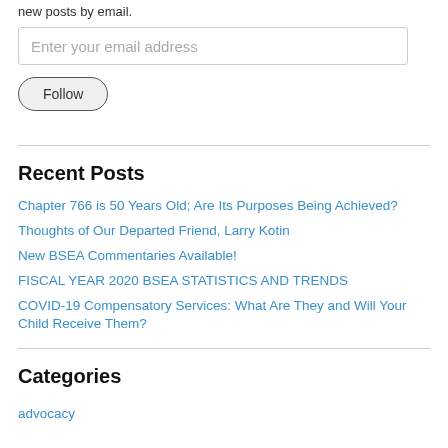new posts by email.
Enter your email address
Follow
Recent Posts
Chapter 766 is 50 Years Old; Are Its Purposes Being Achieved?
Thoughts of Our Departed Friend, Larry Kotin
New BSEA Commentaries Available!
FISCAL YEAR 2020 BSEA STATISTICS AND TRENDS
COVID-19 Compensatory Services: What Are They and Will Your Child Receive Them?
Categories
advocacy